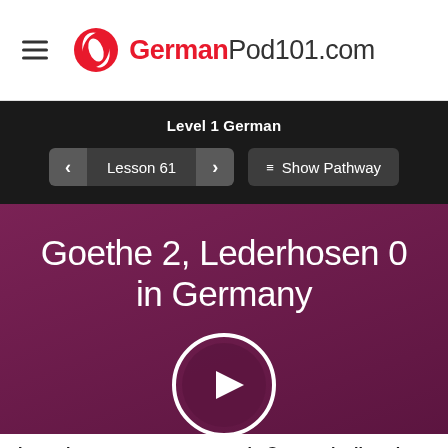[Figure (logo): GermanPod101.com logo with hamburger menu icon on the left and the branded logo (red and black) centered in the white navigation bar]
Level 1 German
Lesson 61   Show Pathway
Goethe 2, Lederhosen 0 in Germany
[Figure (illustration): Play button circle icon (white circle outline with dark purple filled circle containing a white play triangle)]
Learn how to greet a stranger in German by listening